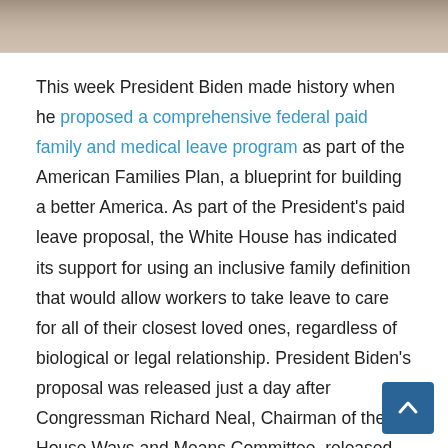[Figure (photo): Partial photo of people, cropped at top of page]
This week President Biden made history when he proposed a comprehensive federal paid family and medical leave program as part of the American Families Plan, a blueprint for building a better America. As part of the President's paid leave proposal, the White House has indicated its support for using an inclusive family definition that would allow workers to take leave to care for all of their closest loved ones, regardless of biological or legal relationship. President Biden's proposal was released just a day after Congressman Richard Neal, Chairman of the House Ways and Means Committee, released the Building an Economy for Families Act, a bill that includes a paid family and medical leave program that would also allow workers to care for all of their